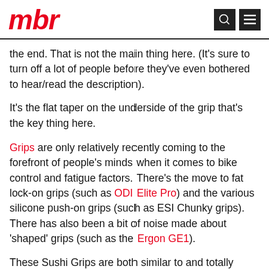mbr
the end. That is not the main thing here. (It’s sure to turn off a lot of people before they’ve even bothered to hear/read the description).
It’s the flat taper on the underside of the grip that’s the key thing here.
Grips are only relatively recently coming to the forefront of people’s minds when it comes to bike control and fatigue factors. There’s the move to fat lock-on grips (such as ODI Elite Pro) and the various silicone push-on grips (such as ESI Chunky grips). There has also been a bit of noise made about ‘shaped’ grips (such as the Ergon GE1).
These Sushi Grips are both similar to and totally opposite to